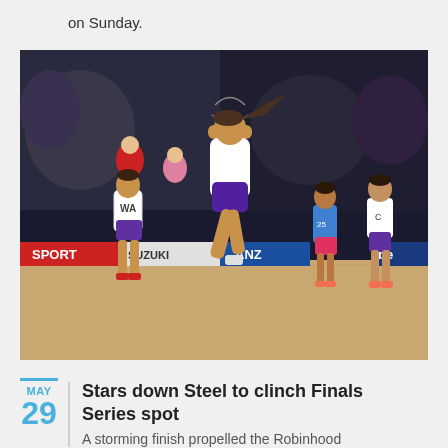on Sunday.
[Figure (photo): Netball match action photo showing players in purple uniforms on an indoor court. A female player in purple holds a netball mid-jump, with other players running around her. Court-side advertising boards show 'SPORT', 'SUZUKI', 'ANZ'. Arena seating visible in background.]
Stars down Steel to clinch Finals Series spot
A storming finish propelled the Robinhood